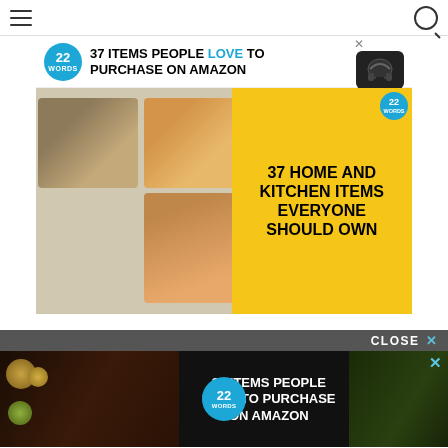≡  [22 WORDS] 37 ITEMS PEOPLE LOVE TO PURCHASE ON AMAZON  [close]  Q
[Figure (photo): Advertisement banner: '37 ITEMS PEOPLE LOVE TO PURCHASE ON AMAZON' with '37 HOME AND KITCHEN ITEMS EVERYONE SHOULD OWN' on yellow background, food/kitchen images on left]
In some cases, an enlarged MTP joint may lead to bursitis. It may also lead to chronic pain and arthritis if the smooth articular cartilage that covers the joint becomes damaged from the joint not gliding smoothly.
Bunion... contra... nd, third, f... t pressu... ems
[Figure (photo): Bottom advertisement overlay: CLOSE bar and '37 ITEMS PEOPLE LOVE TO PURCHASE ON AMAZON' ad with dark food background]